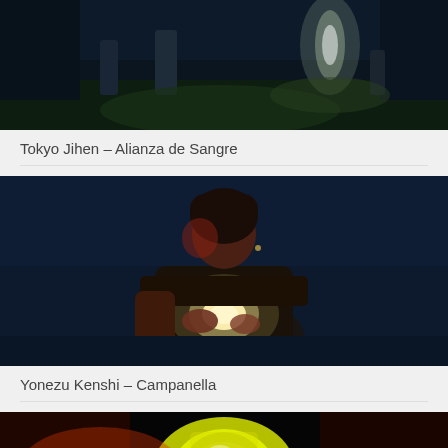[Figure (photo): Dark cinematic scene with glowing light in background, appears to be a graveyard or forest setting with figures]
Tokyo Jihen – Alianza de Sangre
[Figure (photo): Person with short dark hair in a dark blue setting, holding a glowing light to their chest, dramatic lighting with red tones on face]
Yonezu Kenshi – Campanella
[Figure (photo): Partially visible image showing bright yellow-green glowing object against dark background with red/orange tones]